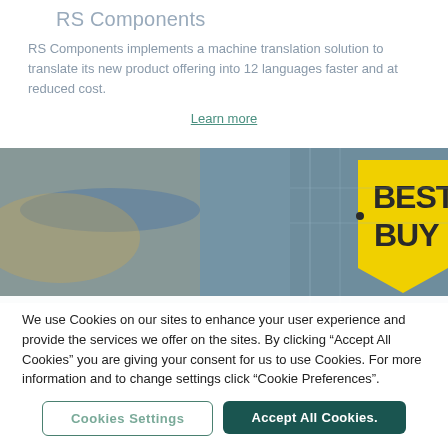RS Components
RS Components implements a machine translation solution to translate its new product offering into 12 languages faster and at reduced cost.
Learn more
[Figure (photo): Best Buy store exterior with large yellow Best Buy price-tag shaped logo sign, blurred storefront background with blue and warm interior lighting.]
We use Cookies on our sites to enhance your user experience and provide the services we offer on the sites. By clicking “Accept All Cookies” you are giving your consent for us to use Cookies. For more information and to change settings click “Cookie Preferences”.
Cookies Settings
Accept All Cookies.